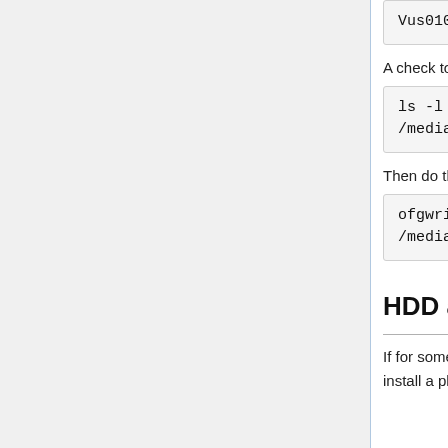Vus0102-20200330_usb.zip
A check to see if all is well, when using a usbstick
ls -l /media/usbsticknaam/vuplus/solo
Then do the flash
ofgwrite -r -k /media/usbsticknaam/vuplus/solo
HDD and temperature
If for some reason you are interested in the temperature of your harddisk, then you can install a plugin using telnet, it